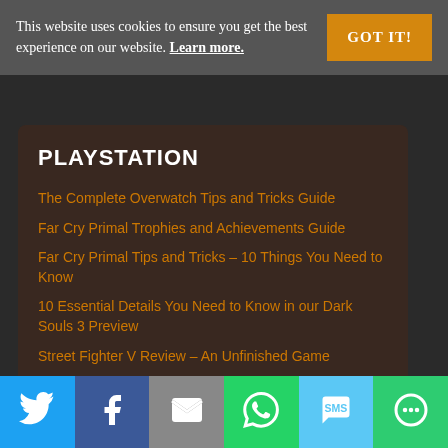This website uses cookies to ensure you get the best experience on our website. Learn more.
PLAYSTATION
The Complete Overwatch Tips and Tricks Guide
Far Cry Primal Trophies and Achievements Guide
Far Cry Primal Tips and Tricks – 10 Things You Need to Know
10 Essential Details You Need to Know in our Dark Souls 3 Preview
Street Fighter V Review – An Unfinished Game
Far Cry Primal Review – More of the Same Old Good Stuff
Unravel Game Review – Too Many Strings Attached